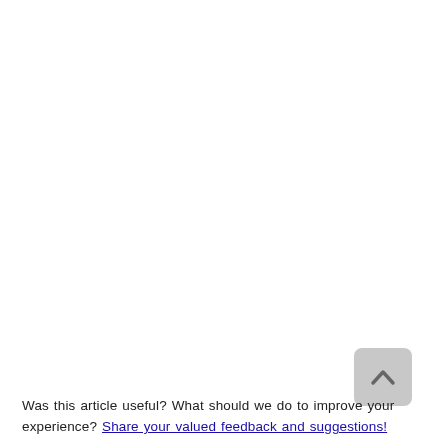[Figure (other): A rounded square button with a light gray background containing an upward-pointing chevron/caret arrow icon, used as a scroll-to-top button.]
Was this article useful? What should we do to improve your experience? Share your valued feedback and suggestions!